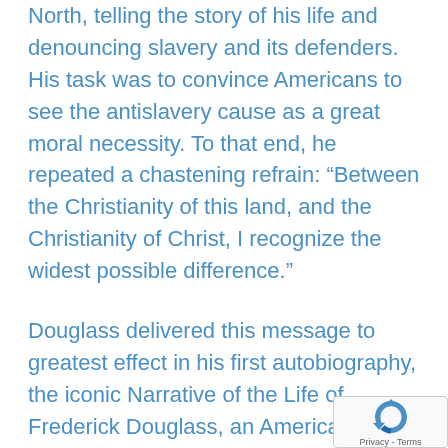North, telling the story of his life and denouncing slavery and its defenders. His task was to convince Americans to see the antislavery cause as a great moral necessity. To that end, he repeated a chastening refrain: “Between the Christianity of this land, and the Christianity of Christ, I recognize the widest possible difference.”
Douglass delivered this message to greatest effect in his first autobiography, the iconic Narrative of the Life of Frederick Douglass, an American Slave. Published in 1845, the book was an instant hit, selling 30,000 copies within five years. Douglass’s Narrative is one of the great texts of the black prophetic Christian tradition, full of scorn for religious hypocrisy and
[Figure (other): reCAPTCHA verification widget with rotating arrows icon and Privacy - Terms text]